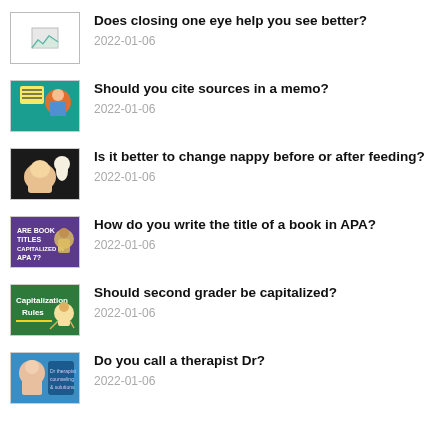Does closing one eye help you see better?
2022-01-06
Should you cite sources in a memo?
2022-01-06
Is it better to change nappy before or after feeding?
2022-01-06
How do you write the title of a book in APA?
2022-01-06
Should second grader be capitalized?
2022-01-06
Do you call a therapist Dr?
2022-01-06